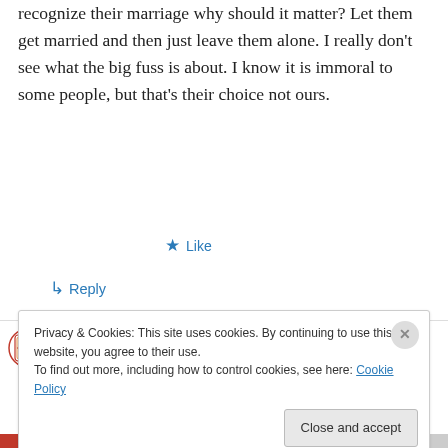recognize their marriage why should it matter? Let them get married and then just leave them alone. I really don't see what the big fuss is about. I know it is immoral to some people, but that's their choice not ours.
★ Like
↪ Reply
Arielle on July 21, 2008 at 5:03 pm
👍 0 👎 0 ℹ Rate This
Privacy & Cookies: This site uses cookies. By continuing to use this website, you agree to their use.
To find out more, including how to control cookies, see here: Cookie Policy
Close and accept